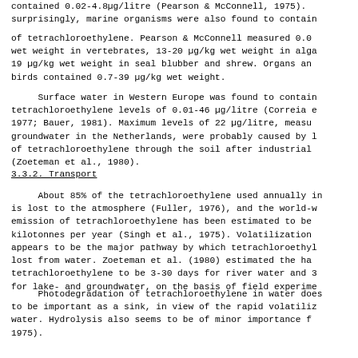contained 0.02-4.8µg/litre (Pearson & McConnell, 1975). surprisingly, marine organisms were also found to contain
of tetrachloroethylene. Pearson & McConnell measured 0.0 wet weight in vertebrates, 13-20 µg/kg wet weight in alga 19 µg/kg wet weight in seal blubber and shrew. Organs an birds contained 0.7-39 µg/kg wet weight.
Surface water in Western Europe was found to contain tetrachloroethylene levels of 0.01-46 µg/litre (Correia e 1977; Bauer, 1981). Maximum levels of 22 µg/litre, measu groundwater in the Netherlands, were probably caused by l of tetrachloroethylene through the soil after industrial (Zoeteman et al., 1980).
3.3.2. Transport
About 85% of the tetrachloroethylene used annually in is lost to the atmosphere (Fuller, 1976), and the world-w emission of tetrachloroethylene has been estimated to be kilotonnes per year (Singh et al., 1975). Volatilization appears to be the major pathway by which tetrachloroethyl lost from water. Zoeteman et al. (1980) estimated the ha tetrachloroethylene to be 3-30 days for river water and 3 for lake- and groundwater, on the basis of field experime
Photodegradation of tetrachloroethylene in water does to be important as a sink, in view of the rapid volatiliz water. Hydrolysis also seems to be of minor importance f 1975).